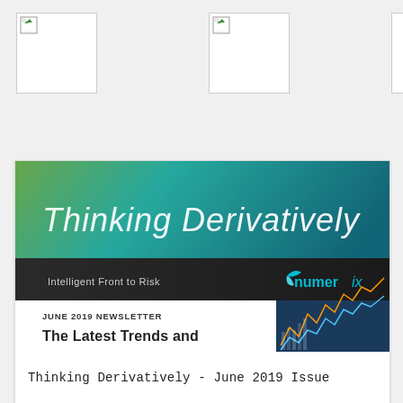[Figure (other): Broken image placeholder 1 (top left)]
[Figure (other): Broken image placeholder 2 (top center)]
[Figure (other): Broken image partial (top right edge)]
[Figure (other): Newsletter cover thumbnail showing 'Thinking Derivatively' banner with teal/green gradient, subtitle 'Intelligent Front to Risk', Numerix logo, 'JUNE 2019 NEWSLETTER' label, and partial text 'The Latest Trends and...']
Thinking Derivatively - June 2019 Issue